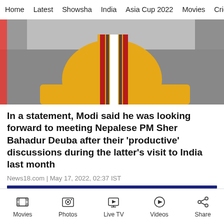Home | Latest | Showsha | India | Asia Cup 2022 | Movies | Cricket
[Figure (photo): A person wearing a yellow kurta and a striped red, white, and brown shawl/sash, seated, shown from neck to waist. Red vertical bar on the left edge.]
In a statement, Modi said he was looking forward to meeting Nepalese PM Sher Bahadur Deuba after their 'productive' discussions during the latter's visit to India last month
News18.com | May 17, 2022, 02:37 IST
Movies | Photos | Live TV | Videos | Share